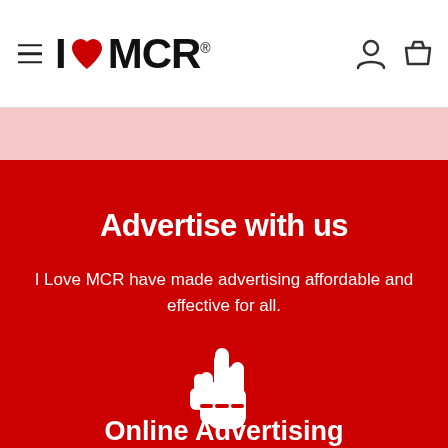≡  I ♥ MCR®
[Figure (logo): I Love MCR logo with red heart between I and MCR, hamburger menu on left, user and basket icons on right]
Advertise with us
I Love MCR have made advertising affordable and effective for all.
[Figure (illustration): White pointing hand/cursor icon on red background]
Online Advertising